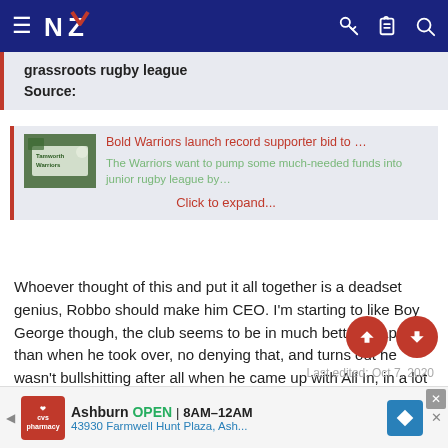NZ Warriors forum navigation bar
grassroots rugby league
Source:
[Figure (screenshot): Linked article preview card with thumbnail image of Tamworth Warriors sign, red title 'Bold Warriors launch record supporter bid to …', green description 'The Warriors want to pump some much-needed funds into junior rugby league by…', and red 'Click to expand...' link]
Whoever thought of this and put it all together is a deadset genius, Robbo should make him CEO. I'm starting to like Boy George though, the club seems to be in much better shape than when he took over, no denying that, and turns out he wasn't bullshitting after all when he came up with All In, in a lot of ways he's making the Warriors great again. Well done CG and the whole bald squad behind the scenes, this $10 membership idea is a masterstroke, keep him on Robbo
Last edited: Oct 7, 2020
[Figure (infographic): Advertisement: CVS Pharmacy Ashburn OPEN 8AM-12AM, 43930 Farmwell Hunt Plaza, Ash...]